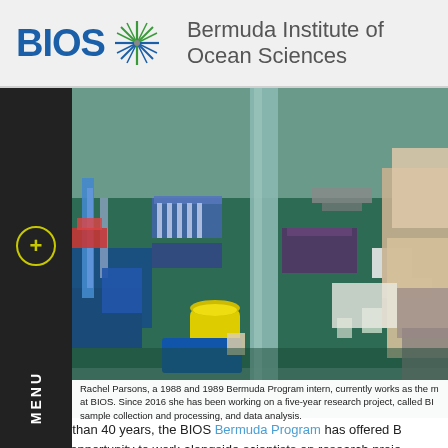BIOS — Bermuda Institute of Ocean Sciences
[Figure (photo): Laboratory bench with scientific equipment including pipettes, sample trays, yellow container, and a researcher in the background at BIOS]
Rachel Parsons, a 1988 and 1989 Bermuda Program intern, currently works as the m at BIOS. Since 2016 she has been working on a five-year research project, called BI sample collection and processing, and data analysis.
For more than 40 years, the BIOS Bermuda Program has offered B older the opportunity to work alongside scientists on research proje sciences. During the summer, for periods of four or eight weeks, Be time in both laboratory and field settings, gaining significant hands- into advanced degrees in science, technology, engineering, and m